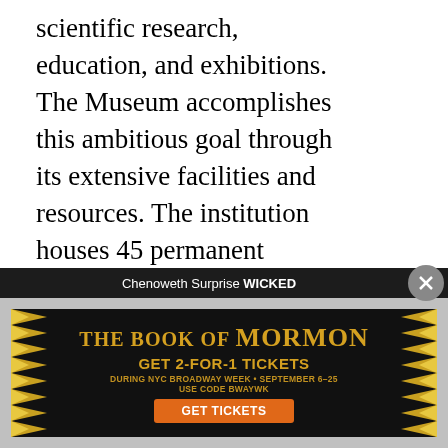scientific research, education, and exhibitions. The Museum accomplishes this ambitious goal through its extensive facilities and resources. The institution houses 45 permanent exhibition halls, state-of-the-art research laboratories, one of the largest natural history libraries in the Western Hemisphere, and a Permanent Collection of more than 30 million specimens and cultural artifacts. With a scientific staff of more than 200, the Museum supports research divisions in Anthropology, Paleontology, Invertebrate and Vertebrate Zoology, and the Physical Sciences. In 2006, with the launch of the Richard Gilder Graduate School at the Museum, it became the first American museum with the authority to...
[Figure (other): Share sidebar with Twitter and Facebook icons on dark background]
[Figure (other): Advertisement banner for The Book of Mormon musical: GET 2-FOR-1 TICKETS DURING NYC BROADWAY WEEK • SEPTEMBER 6-25 USE CODE BWAYWK GET TICKETS]